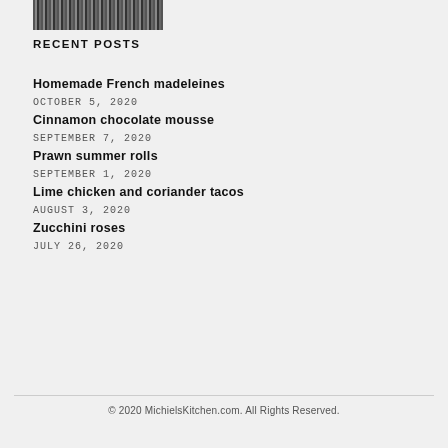[Figure (photo): Partial photo strip at top of sidebar]
RECENT POSTS
Homemade French madeleines
OCTOBER 5, 2020
Cinnamon chocolate mousse
SEPTEMBER 7, 2020
Prawn summer rolls
SEPTEMBER 1, 2020
Lime chicken and coriander tacos
AUGUST 3, 2020
Zucchini roses
JULY 26, 2020
© 2020 MichielsKitchen.com. All Rights Reserved.